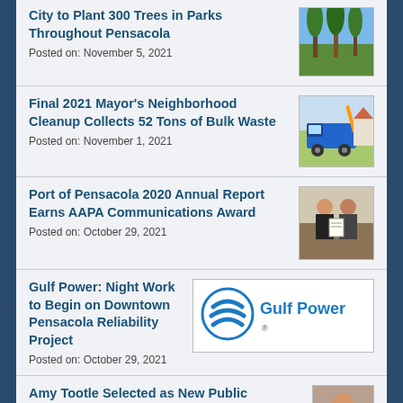City to Plant 300 Trees in Parks Throughout Pensacola
Posted on: November 5, 2021
[Figure (photo): Tall pine trees in a park setting with blue sky]
Final 2021 Mayor's Neighborhood Cleanup Collects 52 Tons of Bulk Waste
Posted on: November 1, 2021
[Figure (photo): Blue garbage truck in a neighborhood]
Port of Pensacola 2020 Annual Report Earns AAPA Communications Award
Posted on: October 29, 2021
[Figure (photo): Two people holding an award certificate outdoors]
Gulf Power: Night Work to Begin on Downtown Pensacola Reliability Project
Posted on: October 29, 2021
[Figure (logo): Gulf Power company logo with blue swirl and text Gulf Power]
Amy Tootle Selected as New Public
[Figure (photo): Portrait photo thumbnail]